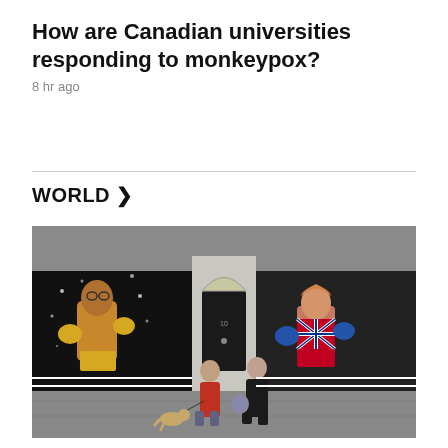How are Canadian universities responding to monkeypox?
8 hr ago
WORLD >
[Figure (photo): Street photo showing two murals on a building facade depicting two boxing-themed political figures — one male with gold gloves on the left, one female with a Union Jack outfit and blue gloves on the right — painted on either side of a door resembling 10 Downing Street. Two pedestrians and a dog walk in front on a sidewalk.]